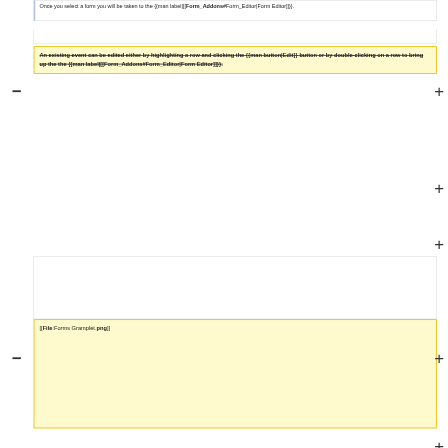Once you select a form you will be taken to the {{man label|[[Form_Addons#Form_Editor|Form Editor]]}}.
An existing event can be edited either by highlighting a row and clicking the {{man button|Edit}} button or by double-clicking on a row to bring up the the {{man label|[[Form_Addons#Form_Editor|Form Editor]]}}.
[[File:Forms Gramplet.png]]